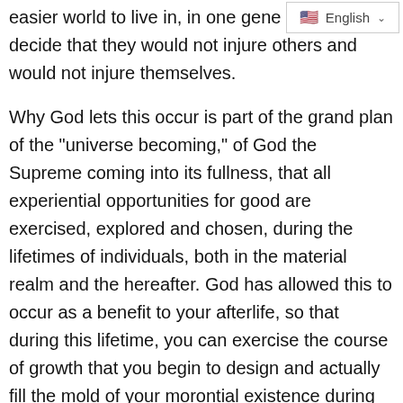[Figure (screenshot): Language selector widget showing US flag and 'English' label with dropdown chevron]
easier world to live in, in one gene... decide that they would not injure others and would not injure themselves.

Why God lets this occur is part of the grand plan of the "universe becoming," of God the Supreme coming into its fullness, that all experiential opportunities for good are exercised, explored and chosen, during the lifetimes of individuals, both in the material realm and the hereafter. God has allowed this to occur as a benefit to your afterlife, so that during this lifetime, you can exercise the course of growth that you begin to design and actually fill the mold of your morontial existence during this lifetime, by the decisions and choices you make, many of which involve how you live, where you live, and